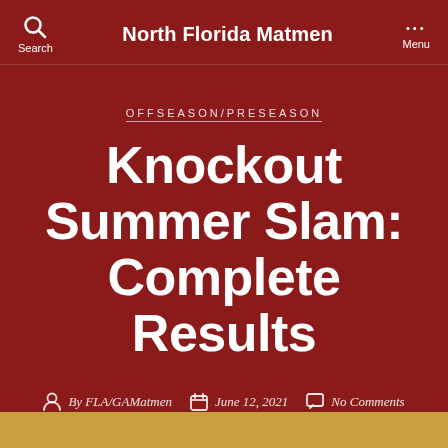North Florida Matmen
OFFSEASON/PRESEASON
Knockout Summer Slam: Complete Results
By FLA/GAMatmen   June 12, 2021   No Comments